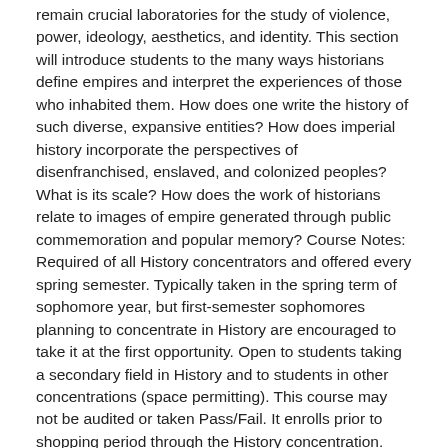remain crucial laboratories for the study of violence, power, ideology, aesthetics, and identity. This section will introduce students to the many ways historians define empires and interpret the experiences of those who inhabited them. How does one write the history of such diverse, expansive entities? How does imperial history incorporate the perspectives of disenfranchised, enslaved, and colonized peoples? What is its scale? How does the work of historians relate to images of empire generated through public commemoration and popular memory? Course Notes: Required of all History concentrators and offered every spring semester. Typically taken in the spring term of sophomore year, but first-semester sophomores planning to concentrate in History are encouraged to take it at the first opportunity. Open to students taking a secondary field in History and to students in other concentrations (space permitting). This course may not be audited or taken Pass/Fail. It enrolls prior to shopping period through the History concentration. Please contact the ADUS in History or the admin tutor in History 97 (Matthew Sohm, msohm@g.harvard.edu), if you wish to enroll without being a regular-sequence concentrator in History, preferably by Thanksgiving.